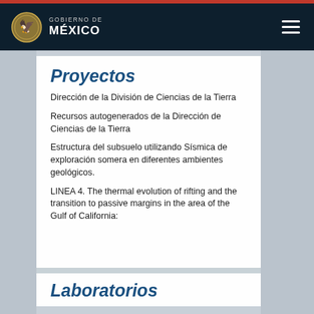GOBIERNO DE MÉXICO
Proyectos
Dirección de la División de Ciencias de la Tierra
Recursos autogenerados de la Dirección de Ciencias de la Tierra
Estructura del subsuelo utilizando Sísmica de exploración somera en diferentes ambientes geológicos.
LINEA 4. The thermal evolution of rifting and the transition to passive margins in the area of the Gulf of California:
Laboratorios